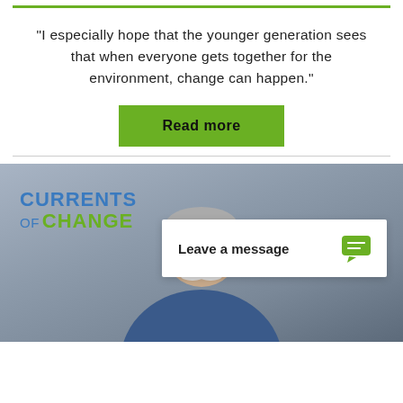“I especially hope that the younger generation sees that when everyone gets together for the environment, change can happen.”
Read more
[Figure (photo): Photo of an older man with a white mustache and sunglasses wearing a blue shirt, with a 'Currents of Change' logo overlay and a 'Leave a message' chat widget overlay]